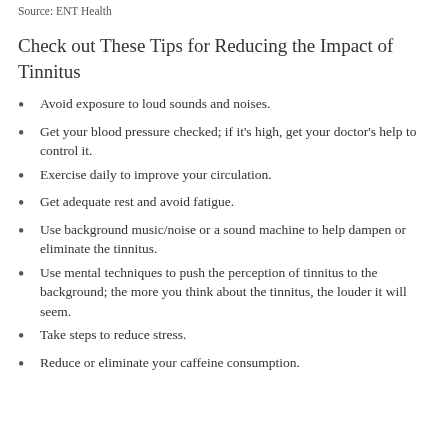Source: ENT Health
Check out These Tips for Reducing the Impact of Tinnitus
Avoid exposure to loud sounds and noises.
Get your blood pressure checked; if it's high, get your doctor's help to control it.
Exercise daily to improve your circulation.
Get adequate rest and avoid fatigue.
Use background music/noise or a sound machine to help dampen or eliminate the tinnitus.
Use mental techniques to push the perception of tinnitus to the background; the more you think about the tinnitus, the louder it will seem.
Take steps to reduce stress.
Reduce or eliminate your caffeine consumption.